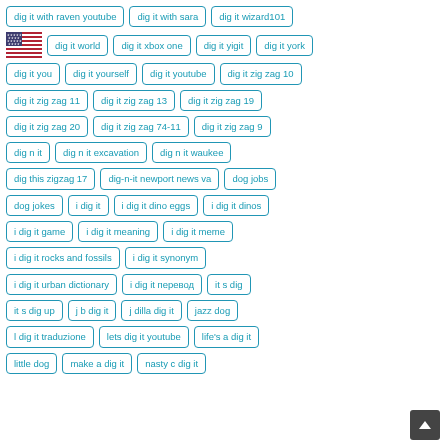dig it with raven youtube
dig it with sara
dig it wizard101
dig it world
dig it xbox one
dig it yigit
dig it york
dig it you
dig it yourself
dig it youtube
dig it zig zag 10
dig it zig zag 11
dig it zig zag 13
dig it zig zag 19
dig it zig zag 20
dig it zig zag 74-11
dig it zig zag 9
dig n it
dig n it excavation
dig n it waukee
dig this zigzag 17
dig-n-it newport news va
dog jobs
dog jokes
i dig it
i dig it dino eggs
i dig it dinos
i dig it game
i dig it meaning
i dig it meme
i dig it rocks and fossils
i dig it synonym
i dig it urban dictionary
i dig it перевод
it s dig
it s dig up
j b dig it
j dilla dig it
jazz dog
l dig it traduzione
lets dig it youtube
life's a dig it
little dog
make a dig it
nasty c dig it